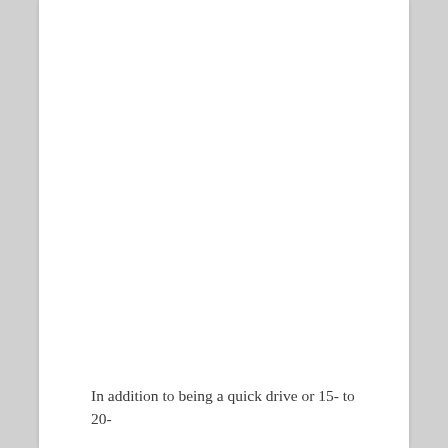In addition to being a quick drive or 15- to 20-